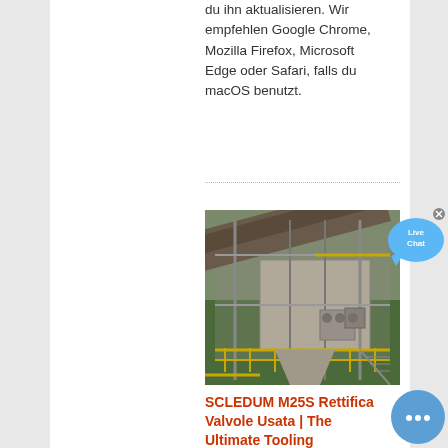du ihn aktualisieren. Wir empfehlen Google Chrome, Mozilla Firefox, Microsoft Edge oder Safari, falls du macOS benutzt.
[Figure (photo): Industrial machinery showing a large conveyor belt system with metal scaffolding, yellow railings, and processing equipment at a mining or quarry site.]
SCLEDUM M25S Rettifica Valvole Usata | The Ultimate Tooling